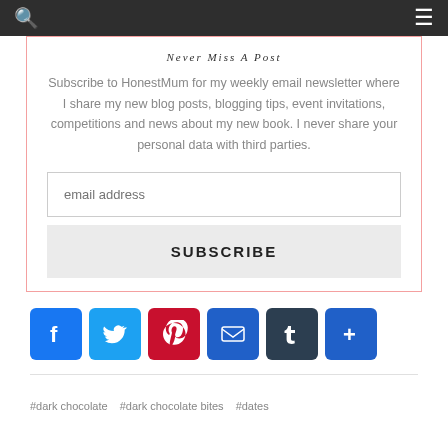Navigation bar with search and menu icons
Never Miss A Post
Subscribe to HonestMum for my weekly email newsletter where I share my new blog posts, blogging tips, event invitations, competitions and news about my new book. I never share your personal data with third parties.
email address
SUBSCRIBE
[Figure (infographic): Social share icons row: Facebook (blue), Twitter (light blue), Pinterest (dark red), Email (blue), Tumblr (dark slate), Plus/More (blue)]
#dark chocolate   #dark chocolate bites   #dates